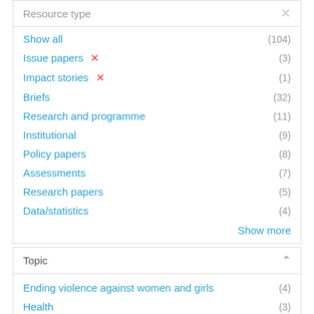Resource type
Show all (104)
Issue papers ✕ (3)
Impact stories ✕ (1)
Briefs (32)
Research and programme (11)
Institutional (9)
Policy papers (8)
Assessments (7)
Research papers (5)
Data/statistics (4)
Show more
Topic
Ending violence against women and girls (4)
Health (3)